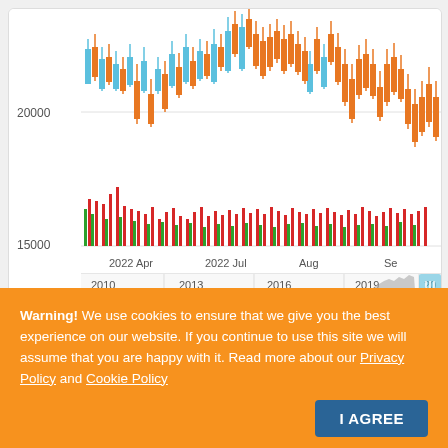[Figure (continuous-plot): Stock price candlestick chart (orange/blue candles) with volume bars (red/green) below. X-axis shows 2022 Apr, 2022 Jul, Aug, Sep. Y-axis shows 15000 and 20000. Below the main chart is a navigator/overview chart showing years 2010, 2013, 2016, 2019 with a gray area chart and a blue selection handle on the right.]
Warning! We use cookies to ensure that we give you the best experience on our website. If you continue to use this site we will assume that you are happy with it. Read more about our Privacy Policy and Cookie Policy